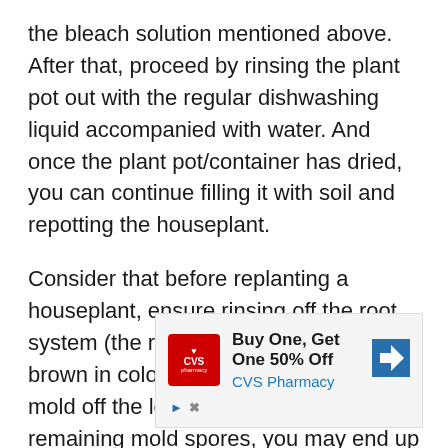the bleach solution mentioned above. After that, proceed by rinsing the plant pot out with the regular dishwashing liquid accompanied with water. And once the plant pot/container has dried, you can continue filling it with soil and repotting the houseplant.
Consider that before replanting a houseplant, ensure rinsing off the root system (the roots should be white to brown in color) as well as cleaning the mold off the leaves. In case of any remaining mold spores, you may end up with decontamination.
[Figure (other): CVS Pharmacy advertisement: Buy One, Get One 50% Off — CVS Pharmacy logo on red background with heart symbol, blue navigation arrow icon, and ad controls (play and close buttons).]